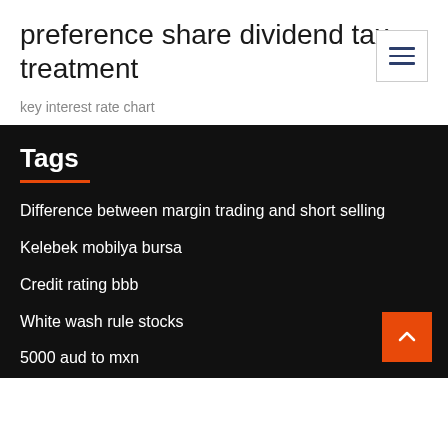preference share dividend tax treatment
key interest rate chart
Tags
Difference between margin trading and short selling
Kelebek mobilya bursa
Credit rating bbb
White wash rule stocks
5000 aud to mxn
4432